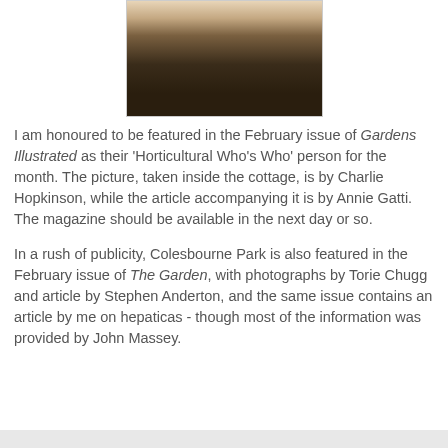[Figure (photo): Sepia-toned photograph of a person wearing a dark sweater, taken inside a cottage with stone wall visible in background.]
I am honoured to be featured in the February issue of Gardens Illustrated as their 'Horticultural Who's Who' person for the month. The picture, taken inside the cottage, is by Charlie Hopkinson, while the article accompanying it is by Annie Gatti. The magazine should be available in the next day or so.
In a rush of publicity, Colesbourne Park is also featured in the February issue of The Garden, with photographs by Torie Chugg and article by Stephen Anderton, and the same issue contains an article by me on hepaticas - though most of the information was provided by John Massey.